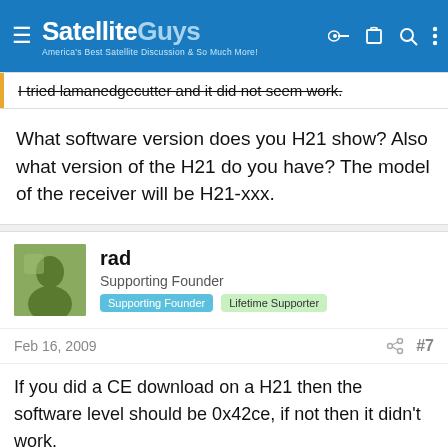SatelliteGuys — America's Best Satellite Discussion & So Much More!
I tried lamanedgecutter and it did not seem work.
What software version does you H21 show? Also what version of the H21 do you have? The model of the receiver will be H21-xxx.
rad
Supporting Founder | Supporting Founder | Lifetime Supporter
Feb 16, 2009  #7
If you did a CE download on a H21 then the software level should be 0x42ce, if not then it didn't work.

If you did the edgecutter correctly then when you go into the menus, then "Parental, Fav's & Setup" there